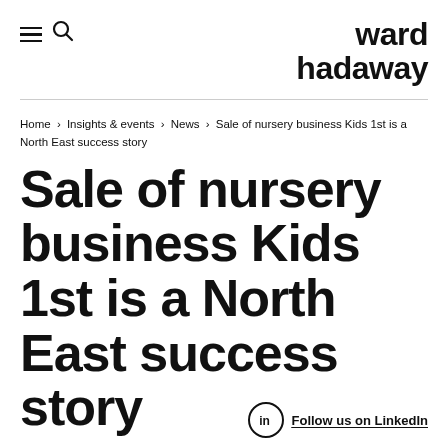ward hadaway
Home › Insights & events › News › Sale of nursery business Kids 1st is a North East success story
Sale of nursery business Kids 1st is a North East success story
Follow us on LinkedIn